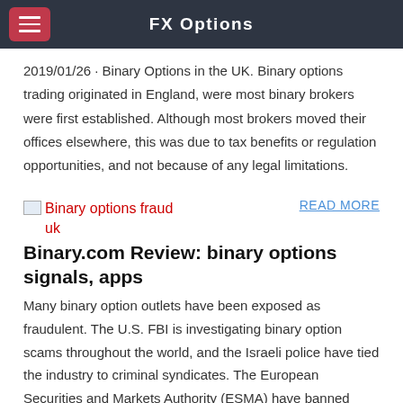FX Options
2019/01/26 · Binary Options in the UK. Binary options trading originated in England, were most binary brokers were first established. Although most brokers moved their offices elsewhere, this was due to tax benefits or regulation opportunities, and not because of any legal limitations.
[Figure (photo): Broken image placeholder labeled 'Binary options fraud uk']
READ MORE
Binary.com Review: binary options signals, apps
Many binary option outlets have been exposed as fraudulent. The U.S. FBI is investigating binary option scams throughout the world, and the Israeli police have tied the industry to criminal syndicates. The European Securities and Markets Authority (ESMA) have banned retail binary options trading.